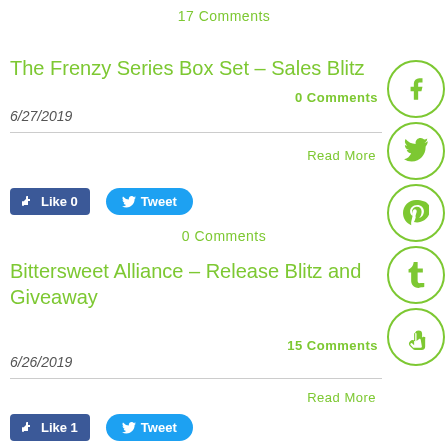17 Comments
The Frenzy Series Box Set – Sales Blitz
0 Comments
6/27/2019
Read More
Like 0   Tweet
0 Comments
Bittersweet Alliance – Release Blitz and Giveaway
15 Comments
6/26/2019
Read More
Like 1   Tweet